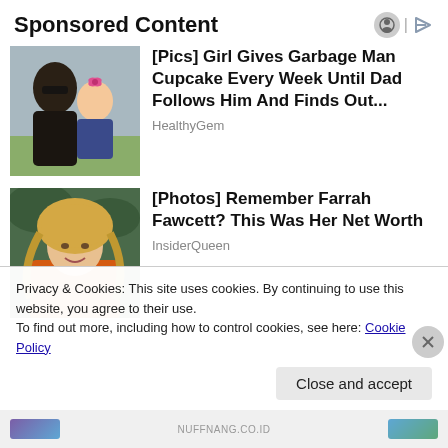Sponsored Content
[Figure (photo): Photo of a man and a small girl with a pink bow]
[Pics] Girl Gives Garbage Man Cupcake Every Week Until Dad Follows Him And Finds Out...
HealthyGem
[Figure (photo): Photo of a blonde woman in an orange jacket (Farrah Fawcett)]
[Photos] Remember Farrah Fawcett? This Was Her Net Worth
InsiderQueen
Privacy & Cookies: This site uses cookies. By continuing to use this website, you agree to their use.
To find out more, including how to control cookies, see here: Cookie Policy
Close and accept